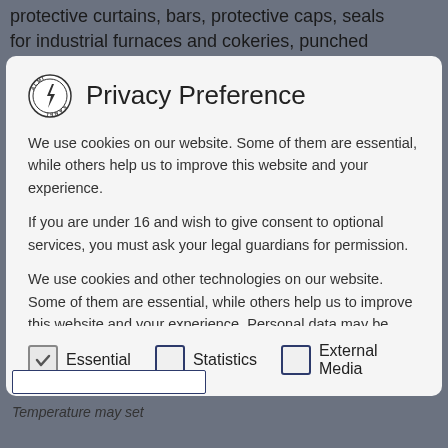protective curtains, bars, protective caps, seals for industrial furnaces and cokeries, punched
[Figure (logo): ALMI KABEL circular logo with lightning bolt]
Privacy Preference
We use cookies on our website. Some of them are essential, while others help us to improve this website and your experience.
If you are under 16 and wish to give consent to optional services, you must ask your legal guardians for permission.
We use cookies and other technologies on our website. Some of them are essential, while others help us to improve this website and your experience. Personal data may be processed (e.g. IP addresses), for example for personalized ads and content or ad and content
✓ Essential
☐ Statistics
☐ External Media
Temperature may set